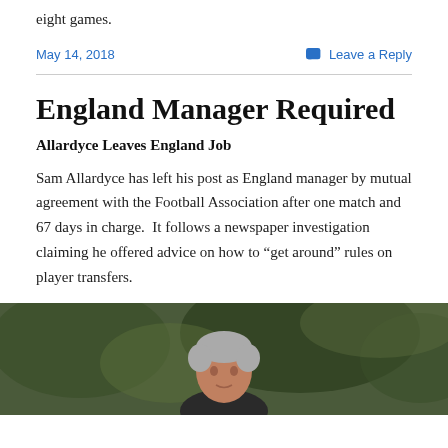eight games.
May 14, 2018    Leave a Reply
England Manager Required
Allardyce Leaves England Job
Sam Allardyce has left his post as England manager by mutual agreement with the Football Association after one match and 67 days in charge.  It follows a newspaper investigation claiming he offered advice on how to “get around” rules on player transfers.
[Figure (photo): Photo of a grey-haired man (Sam Allardyce) outdoors with blurred green foliage in background]